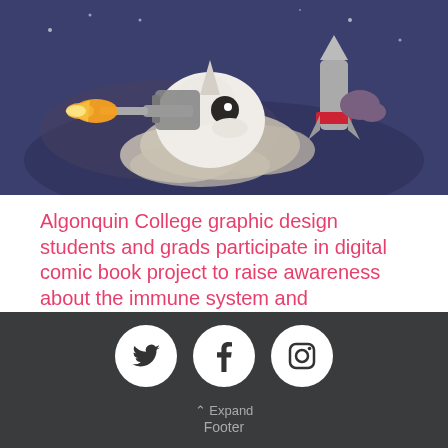[Figure (illustration): Comic book style illustration showing a unicorn character with a flamethrower/rocket device against a dark blue background with smoke effects and a red rocket]
Algonquin College graphic design students and grads participate in digital comic book project to raise awareness about the immune system and vaccinations
Algonquin College
from Metro Ottawa: “A prominent Ottawa doctor has teamed up with graphic-design prodigies to convince children to get vaccinated...
[Figure (infographic): Dark footer with three white circle social media icons: Twitter bird, Facebook f, and Instagram camera. Below them: Expand Footer text with up arrow.]